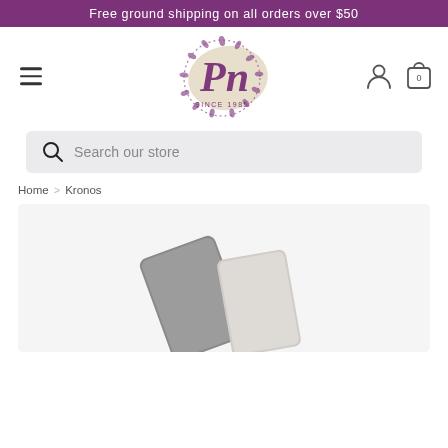Free ground shipping on all orders over $50
[Figure (logo): PN Since 1985 floral circular logo in purple and gold/beige tones]
Search our store
Home > Kronos
[Figure (photo): Product photo showing a Kronos item (appears to be a metallic/silver applicator or tool) on a light grey background]